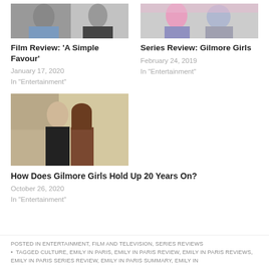[Figure (photo): Thumbnail photo for Film Review: A Simple Favour]
[Figure (photo): Thumbnail photo for Series Review: Gilmore Girls]
Film Review: 'A Simple Favour'
Series Review: Gilmore Girls
January 17, 2020
In "Entertainment"
February 24, 2019
In "Entertainment"
[Figure (photo): Photo of two people walking outdoors for How Does Gilmore Girls Hold Up 20 Years On?]
How Does Gilmore Girls Hold Up 20 Years On?
October 26, 2020
In "Entertainment"
POSTED IN ENTERTAINMENT, FILM AND TELEVISION, SERIES REVIEWS
• TAGGED CULTURE, EMILY IN PARIS, EMILY IN PARIS REVIEW, EMILY IN PARIS REVIEWS, EMILY IN PARIS SERIES REVIEW, EMILY IN PARIS SUMMARY, EMILY IN